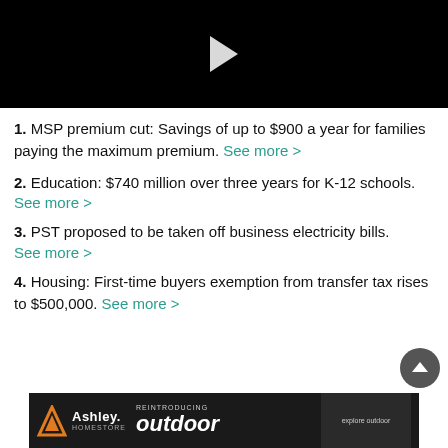[Figure (screenshot): Black video player with white play button triangle in the center]
1. MSP premium cut: Savings of up to $900 a year for families paying the maximum premium. See more >
2. Education: $740 million over three years for K-12 schools. See more >
3. PST proposed to be taken off business electricity bills. See more >
4. Housing: First-time buyers exemption from transfer tax rises to $500,000. See more >
[Figure (photo): Ashley HomeStore advertisement banner: REINTRODUCING outdoor, with house logo in orange and furniture photo on right with explore outdoor text]